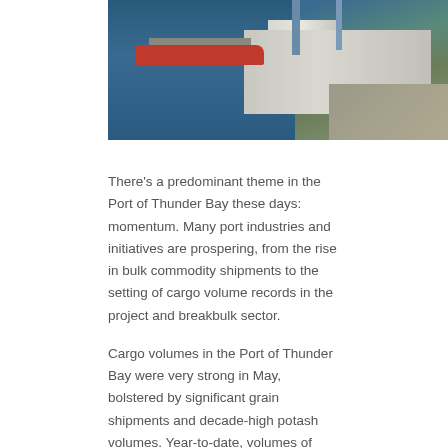[Figure (photo): Aerial photograph of the Port of Thunder Bay showing a red cargo ship docked at a grain terminal with silos, cranes, and surrounding infrastructure]
There’s a predominant theme in the Port of Thunder Bay these days: momentum. Many port industries and initiatives are prospering, from the rise in bulk commodity shipments to the setting of cargo volume records in the project and breakbulk sector.
Cargo volumes in the Port of Thunder Bay were very strong in May, bolstered by significant grain shipments and decade-high potash volumes. Year-to-date, volumes of most of the Port’s key cargoes are well above average.
Grain Days in the Port of Thunder Bay
The Port of Thunder Bay, Canada’s second largest